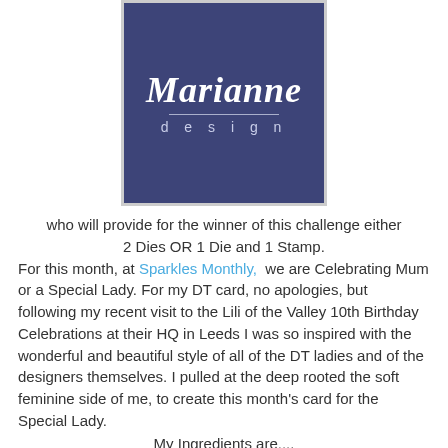[Figure (logo): Marianne Design logo — dark blue/purple square with white script 'Marianne' text and 'design' in spaced letters below a thin line]
who will provide for the winner of this challenge either 2 Dies OR 1 Die and 1 Stamp.
For this month, at Sparkles Monthly, we are Celebrating Mum or a Special Lady. For my DT card, no apologies, but following my recent visit to the Lili of the Valley 10th Birthday Celebrations at their HQ in Leeds I was so inspired with the wonderful and beautiful style of all of the DT ladies and of the designers themselves. I pulled at the deep rooted the soft feminine side of me, to create this month's card for the Special Lady.
My Ingredients are....
All papers from Nitwits Pad Petal Fresh - LOTV
Stamp - Fairy Bouquet - LOTV